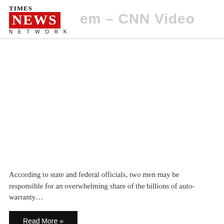TIMES NEWS NETWORK
According to state and federal officials, two men may be responsible for an overwhelming share of the billions of auto-warranty…
Read More »